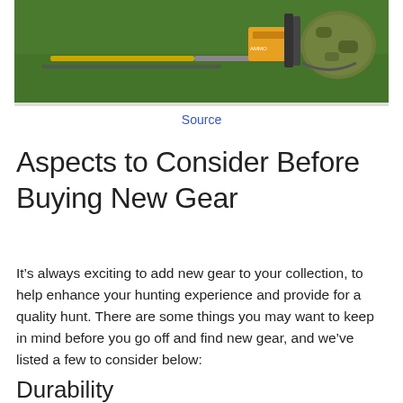[Figure (photo): Hunting gear laid out on grass including knives, ammunition box, and camouflage backpack]
Source
Aspects to Consider Before Buying New Gear
It’s always exciting to add new gear to your collection, to help enhance your hunting experience and provide for a quality hunt. There are some things you may want to keep in mind before you go off and find new gear, and we’ve listed a few to consider below:
Durability